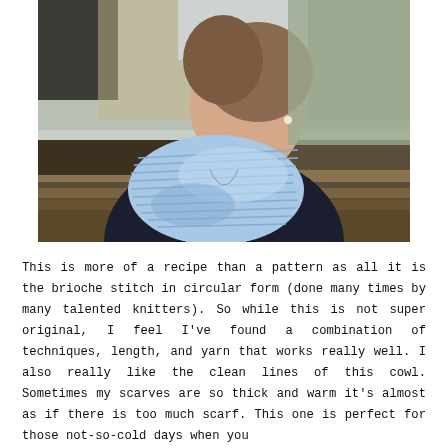[Figure (photo): A woman wearing a light blue knitted brioche stitch infinity cowl scarf over a dark navy sweater. She is seated outdoors in front of wooden raised garden beds, with dried grass and bare trees in the background. Her hair is pulled back and she wears a pearl earring and thin necklace.]
This is more of a recipe than a pattern as all it is the brioche stitch in circular form (done many times by many talented knitters). So while this is not super original, I feel I've found a combination of techniques, length, and yarn that works really well. I also really like the clean lines of this cowl. Sometimes my scarves are so thick and warm it's almost as if there is too much scarf. This one is perfect for those not-so-cold days when you